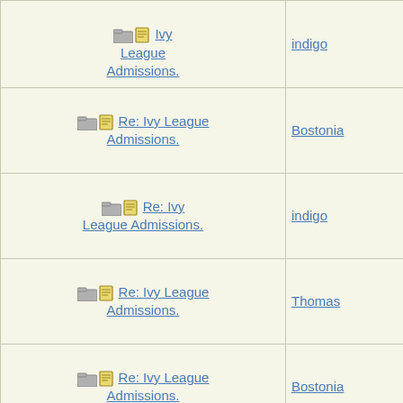| Subject | Author |
| --- | --- |
| Re: Ivy League Admissions. | indigo |
| Re: Ivy League Admissions. | Bostonia |
| Re: Ivy League Admissions. | indigo |
| Re: Ivy League Admissions. | Thomas |
| Re: Ivy League Admissions. | Bostonia |
| Re: Ivy League Admissions. | indigo |
| Re: Ivy League Admissions. | Bostonia |
| Re: Ivy League Admissions. | philly103 |
| Re: Ivy League Admissions. | indigo |
| Re: Ivy League Admissions. | Kai |
| Re: Ivy League Admissions. | Bostonia |
| Re: (partial) |  |